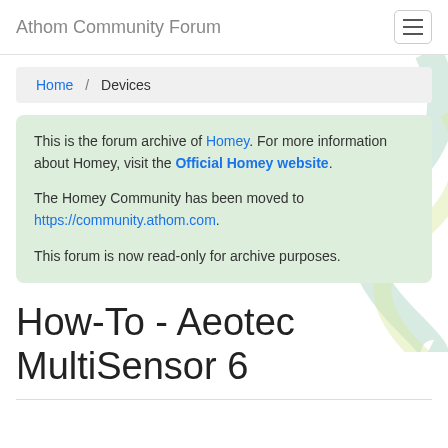Athom Community Forum
Home / Devices
This is the forum archive of Homey. For more information about Homey, visit the Official Homey website.

The Homey Community has been moved to https://community.athom.com.

This forum is now read-only for archive purposes.
How-To - Aeotec MultiSensor 6